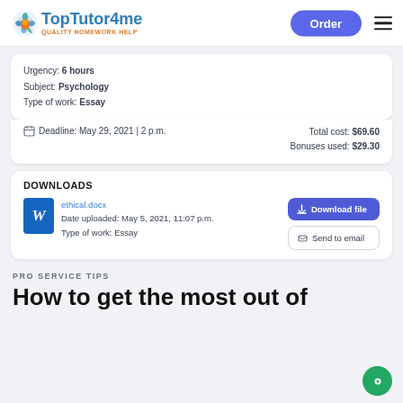TopTutor4me — QUALITY HOMEWORK HELP | Order button | Menu
Urgency: 6 hours
Subject: Psychology
Type of work: Essay
Deadline: May 29, 2021 | 2 p.m.     Total cost: $69.60
                                               Bonuses used: $29.30
DOWNLOADS
ethical.docx
Date uploaded: May 5, 2021, 11:07 p.m.
Type of work: Essay
PRO SERVICE TIPS
How to get the most out of